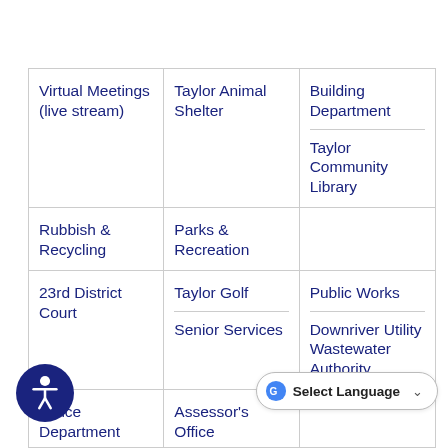Virtual Meetings (live stream)
Taylor Animal Shelter
Building Department
Taylor Community Library
Rubbish & Recycling
Parks & Recreation
23rd District Court
Taylor Golf
Public Works
Senior Services
Downriver Utility Wastewater Authority
Police Department
Assessor's Office
Fire Department
Economic Development
Summer Festival
Clerk's Office